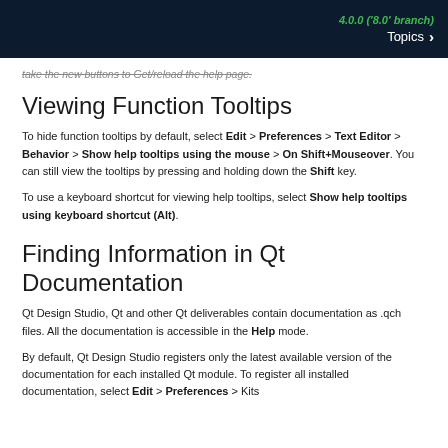4.0.0 ('8.0' branch)  Topics >
take the new buttons to Get/reload the help page.
Viewing Function Tooltips
To hide function tooltips by default, select Edit > Preferences > Text Editor > Behavior > Show help tooltips using the mouse > On Shift+Mouseover. You can still view the tooltips by pressing and holding down the Shift key.
To use a keyboard shortcut for viewing help tooltips, select Show help tooltips using keyboard shortcut (Alt).
Finding Information in Qt Documentation
Qt Design Studio, Qt and other Qt deliverables contain documentation as .qch files. All the documentation is accessible in the Help mode.
By default, Qt Design Studio registers only the latest available version of the documentation for each installed Qt module. To register all installed documentation, select Edit > Preferences > Kits